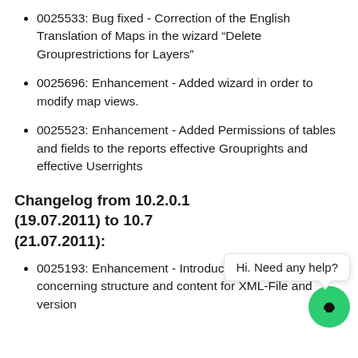0025533: Bug fixed - Correction of the English Translation of Maps in the wizard “Delete Grouprestrictions for Layers”
0025696: Enhancement - Added wizard in order to modify map views.
0025523: Enhancement - Added Permissions of tables and fields to the reports effective Grouprights and effective Userrights
Changelog from 10.2.0.1 (19.07.2011) to 10.7 (21.07.2011):
0025193: Enhancement - Introduction checks concerning structure and content for XML-File and version